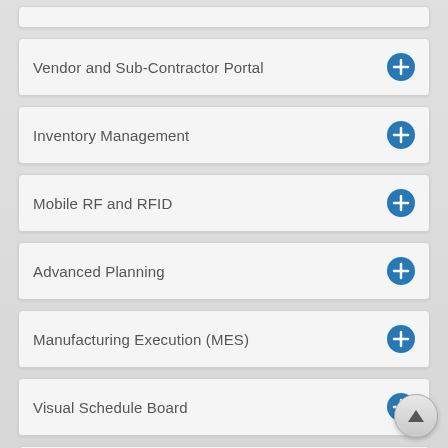Vendor and Sub-Contractor Portal
Inventory Management
Mobile RF and RFID
Advanced Planning
Manufacturing Execution (MES)
Visual Schedule Board